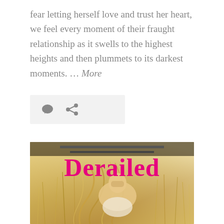fear letting herself love and trust her heart, we feel every moment of their fraught relationship as it swells to the highest heights and then plummets to its darkest moments. ... More
[Figure (other): Icon bar with comment bubble and share/link icons on a light gray background]
[Figure (photo): Book cover for 'Derailed' showing the title in large magenta/pink bold text over a photo of a person with long blonde hair sitting in a field of golden grass]